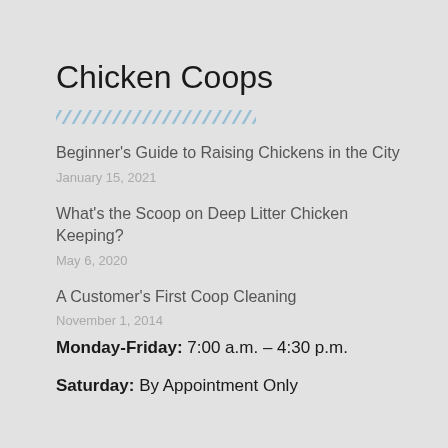Chicken Coops
Beginner’s Guide to Raising Chickens in the City
January 15, 2021
What’s the Scoop on Deep Litter Chicken Keeping?
May 6, 2020
A Customer’s First Coop Cleaning
November 1, 2014
Monday-Friday: 7:00 a.m. – 4:30 p.m.
Saturday: By Appointment Only